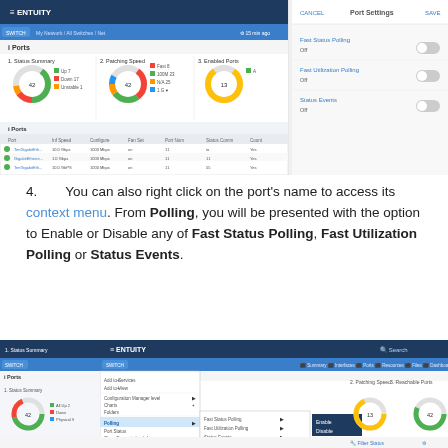[Figure (screenshot): Entuity network management dashboard showing Ports section with donut charts for Status Summary, Patching Speed, Enabled Ports, and a table of ports with columns for Port, Inf Speed, Configure, Fan Set, Port Num, Status Comm, Count. Right panel shows Port Settings with Fast Status Polling, Fast Utilization Polling, Allocated Hits options.]
4. You can also right click on the port's name to access its context menu. From Polling, you will be presented with the option to Enable or Disable any of Fast Status Polling, Fast Utilization Polling or Status Events.
[Figure (screenshot): Entuity dashboard with right-click context menu open on a port, showing options including Add to Services, Add to View, Configuration Manager level, Charts, Folders, Polling submenu with Fast Status Polling (Enable/Disable), Fast Utilization Polling (Enable/Disable), Status Events. Donut charts visible for Patching Speed, Enabled Ports, Reachable Ports.]